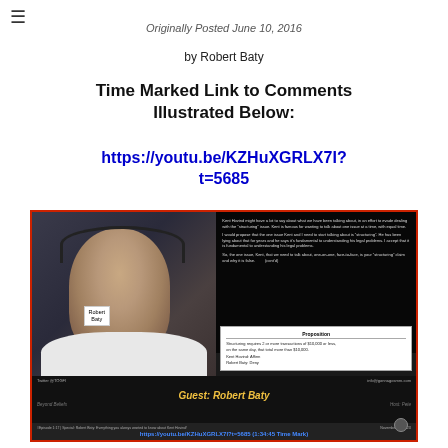≡
Originally Posted June 10, 2016
by Robert Baty
Time Marked Link to Comments Illustrated Below:
https://youtu.be/KZHuXGRLX7I?t=5685
[Figure (screenshot): Screenshot of a YouTube video thumbnail showing Robert Baty as a guest on 'Beyond Beliefs' show hosted by Pete, with text overlay about structuring proposition and a YouTube URL with time mark 1:34:45. URL: https://youtu.be/KZHuXGRLX7I?t=5685 (1:34:45 Time Mark)]